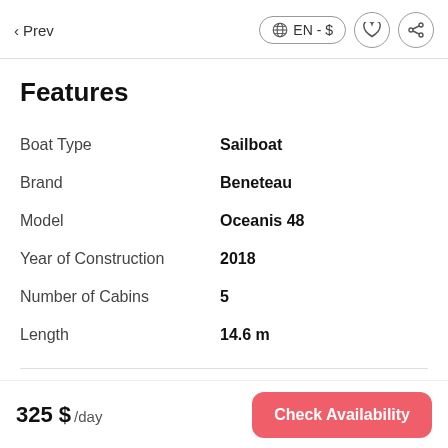< Prev  EN - $
Features
| Feature | Value |
| --- | --- |
| Boat Type | Sailboat |
| Brand | Beneteau |
| Model | Oceanis 48 |
| Year of Construction | 2018 |
| Number of Cabins | 5 |
| Length | 14.6 m |
Conditions
325 $ /day
Check Availability